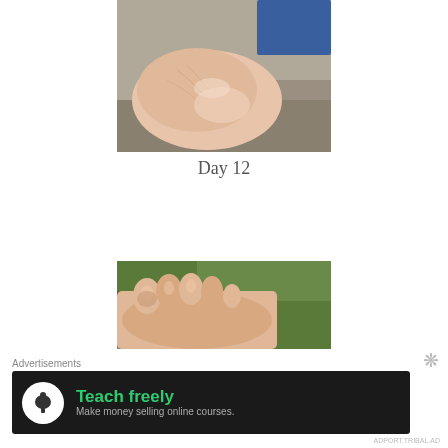[Figure (photo): Close-up photograph of a human foot/ankle showing skin condition, placed on a stone surface with blue fabric visible in background. Outdoor setting.]
Day 12
[Figure (photo): Close-up photograph of toes of a human foot showing skin condition, with grass visible in the background. Outdoor setting.]
Advertisements
[Figure (infographic): Dark advertisement banner with white circle icon showing a tree/person logo, green bold text 'Teach freely' and gray subtext 'Make money selling online courses.']